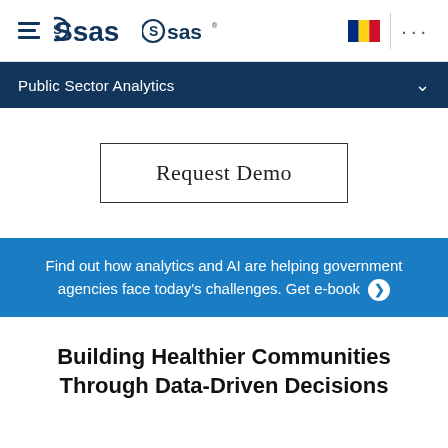[Figure (logo): SAS logo with hamburger menu icon on left side of header]
[Figure (illustration): Romanian flag icon and three-dot menu icon on right side of header]
Public Sector Analytics
Request Demo
Find out how analytics and AI are helping government agencies face today's challenges. Get e-book
Building Healthier Communities Through Data-Driven Decisions